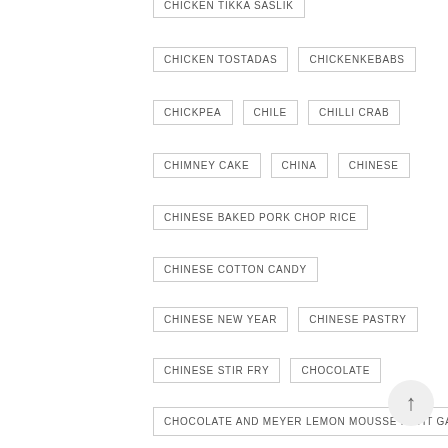CHICKEN TIKKA SASLIK
CHICKEN TOSTADAS
CHICKENKEBABS
CHICKPEA
CHILE
CHILLI CRAB
CHIMNEY CAKE
CHINA
CHINESE
CHINESE BAKED PORK CHOP RICE
CHINESE COTTON CANDY
CHINESE NEW YEAR
CHINESE PASTRY
CHINESE STIR FRY
CHOCOLATE
CHOCOLATE AND MEYER LEMON MOUSSE PETIT GATEAU
CHOCOLATE BANANA AND OATS MUFFIN
CHOCOLATE CHIP
CHOCOLATE CRUMBLE CAKE
CHOCOLATE CUPCAKES
CHOCOLATE FONDANT PUDDING